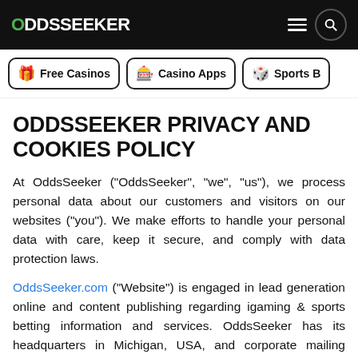ODDSSEEKER
ODDSSEEKER PRIVACY AND COOKIES POLICY
At OddsSeeker ("OddsSeeker", "we", "us"), we process personal data about our customers and visitors on our websites ("you"). We make efforts to handle your personal data with care, keep it secure, and comply with data protection laws.
OddsSeeker.com ("Website") is engaged in lead generation online and content publishing regarding igaming & sports betting information and services. OddsSeeker has its headquarters in Michigan, USA, and corporate mailing address as follows;